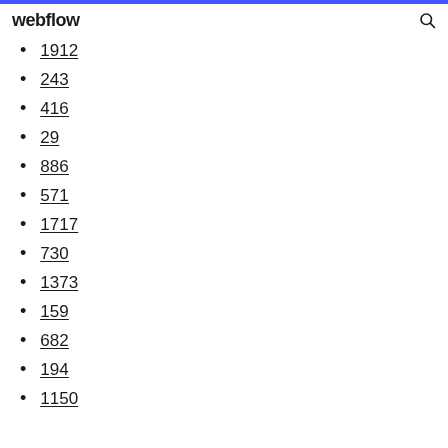webflow
1912
243
416
29
886
571
1717
730
1373
159
682
194
1150